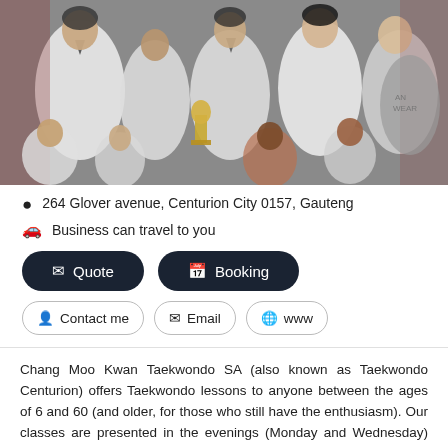[Figure (photo): Group photo of children and youth in taekwondo uniforms (doboks), smiling, with one holding a trophy. Mixed group in a gymnasium setting.]
264 Glover avenue, Centurion City 0157, Gauteng
Business can travel to you
✉ Quote
🗓 Booking
👤 Contact me
✉ Email
🌐 www
Chang Moo Kwan Taekwondo SA (also known as Taekwondo Centurion) offers Taekwondo lessons to anyone between the ages of 6 and 60 (and older, for those who still have the enthusiasm). Our classes are presented in the evenings (Monday and Wednesday) from 18:30 - 19:30 (Juniors) and 19:30 - 20:30 (Seniors). Classes are led by certified black belt instructors who guide students in the arts of sparring, poomsae (patters), set sparring, basic to advanced techniques, as well as self defense. Fitness... Read more